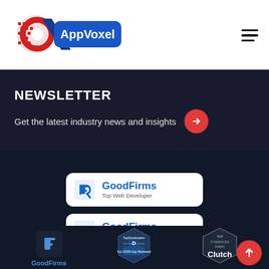[Figure (logo): AppVoxel logo with red circular icon with dots and blue diagonal slash, with 'AppVoxel' text in white on blue rounded rectangle]
[Figure (infographic): Hamburger menu icon (three horizontal lines)]
NEWSLETTER
Get the latest industry news and insights
[Figure (logo): GoodFirms badge - Top Web Developer, white rounded rectangle card with GoodFirms logo in blue]
[Figure (logo): GoodFirms badge - Top App Designer, white rounded rectangle card with GoodFirms logo in blue]
[Figure (logo): Bottom row: GoodFirms icon in blue, TopDevelopers badge, Clutch Top IT Services Firms badge, red scroll-to-top button]